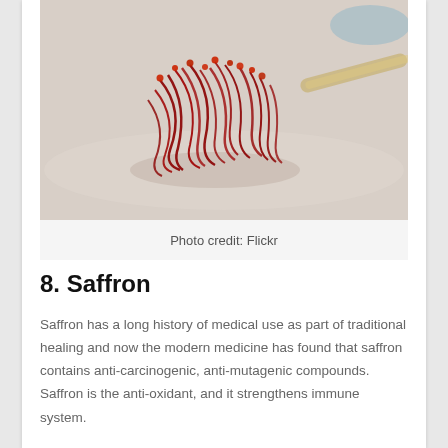[Figure (photo): A pile of saffron threads on a light surface with a wooden spoon handle visible in the background]
Photo credit: Flickr
8. Saffron
Saffron has a long history of medical use as part of traditional healing and now the modern medicine has found that saffron contains anti-carcinogenic, anti-mutagenic compounds. Saffron is the anti-oxidant, and it strengthens immune system.
In traditional medicine, the Persian saffron has always been used as a natural medicine against sore throat, vomiting, menstrual problems, etc. Recent clinical trials have confirmed that saffron's dry extract has been very beneficial, it prevents attention and concentration. Saff...